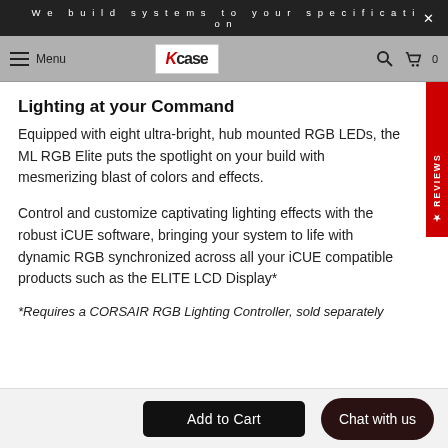We build systems to your specification
[Figure (logo): Xcase logo with red stylized X and case text in a white box, navigation bar with menu icon, search icon, and cart icon]
Lighting at your Command
Equipped with eight ultra-bright, hub mounted RGB LEDs, the ML RGB Elite puts the spotlight on your build with mesmerizing blast of colors and effects.
Control and customize captivating lighting effects with the robust iCUE software, bringing your system to life with dynamic RGB synchronized across all your iCUE compatible products such as the ELITE LCD Display*
*Requires a CORSAIR RGB Lighting Controller, sold separately